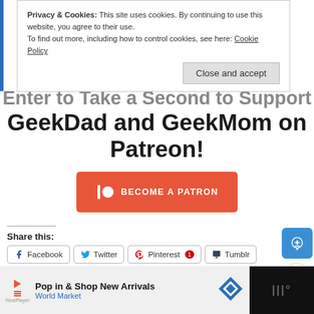Privacy & Cookies: This site uses cookies. By continuing to use this website, you agree to their use.
To find out more, including how to control cookies, see here: Cookie Policy
Close and accept
GeekDad and GeekMom on Patreon!
[Figure (other): Patreon 'Become a Patron' button in orange/red]
Share this:
Facebook
Twitter
Pinterest 1
Tumblr
LinkedIn
Reddit
More
Pop in & Shop New Arrivals
World Market